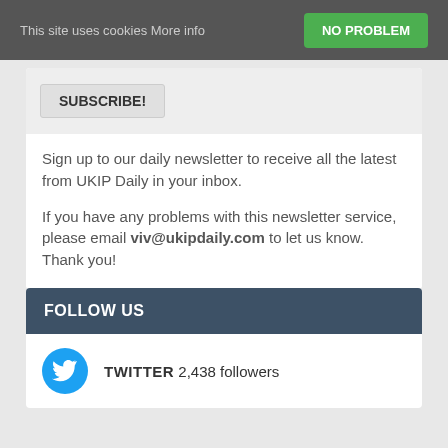This site uses cookies More info
NO PROBLEM
SUBSCRIBE!
Sign up to our daily newsletter to receive all the latest from UKIP Daily in your inbox.
If you have any problems with this newsletter service, please email viv@ukipdaily.com to let us know. Thank you!
FOLLOW US
TWITTER 2,438 followers